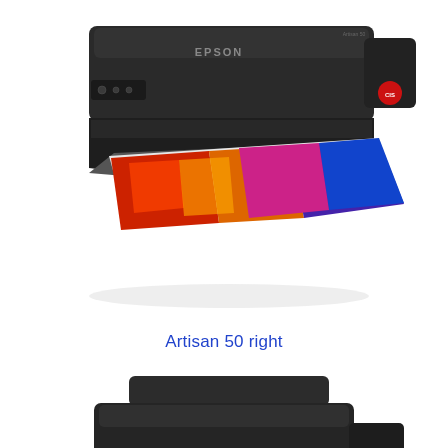[Figure (photo): Epson Artisan 50 inkjet photo printer viewed from the right-front angle, showing a vibrant color photo being printed from the front output tray. The printer is black/dark grey with the Epson logo on the top panel.]
Artisan 50 right
[Figure (photo): Epson Artisan 50 inkjet photo printer viewed from a slightly different right-front angle, again showing a vibrant color photo being output from the front tray. The printer appears in dark grey/black finish with Epson and Artisan 50 branding visible.]